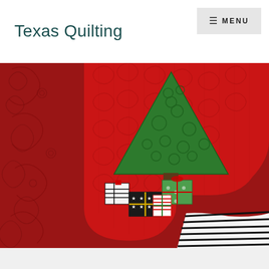Texas Quilting
MENU
[Figure (photo): A red quilted Christmas stocking with an appliquéd green Christmas tree made of patterned fabric, surrounded by decorative quilting swirl patterns in red fabric. At the base of the stocking are several colorful wrapped gift boxes in black/white, green, and striped patterns. The background wall also features red damask fabric.]